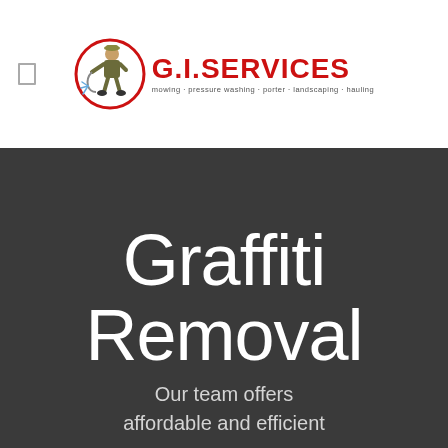[Figure (logo): G.I. Services logo with a cartoon figure using pressure washing equipment inside a red circle, alongside bold red text 'G.I. SERVICES' and tagline 'mowing · pressure washing · porter · landscaping · hauling']
Graffiti Removal
Our team offers affordable and efficient